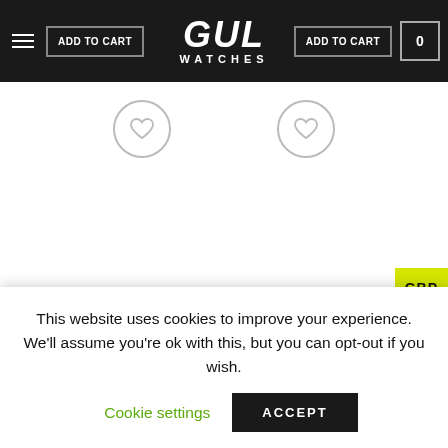GUL WATCHES — navigation bar with ADD TO CART buttons and cart icon
[Figure (screenshot): Two circular heart/wishlist icons on product listing page]
GBP
[Figure (screenshot): Gray circular plus/expand button]
This website uses cookies to improve your experience. We'll assume you're ok with this, but you can opt-out if you wish.
Cookie settings  ACCEPT